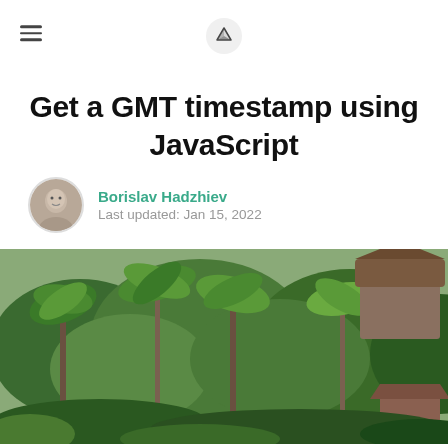Get a GMT timestamp using JavaScript
Borislav Hadzhiev
Last updated: Jan 15, 2022
[Figure (photo): Tropical jungle landscape with palm trees and lush green foliage, with buildings visible in the background]